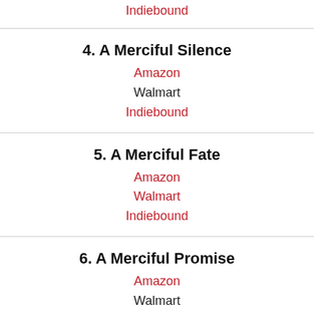Indiebound
4. A Merciful Silence
Amazon
Walmart
Indiebound
5. A Merciful Fate
Amazon
Walmart
Indiebound
6. A Merciful Promise
Amazon
Walmart
Indiebound